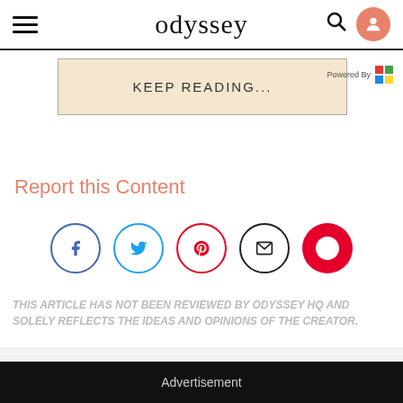odyssey
KEEP READING...
Report this Content
[Figure (other): Social share buttons: Facebook, Twitter, Pinterest, Email, Flipboard]
THIS ARTICLE HAS NOT BEEN REVIEWED BY ODYSSEY HQ AND SOLELY REFLECTS THE IDEAS AND OPINIONS OF THE CREATOR.
Advertisement